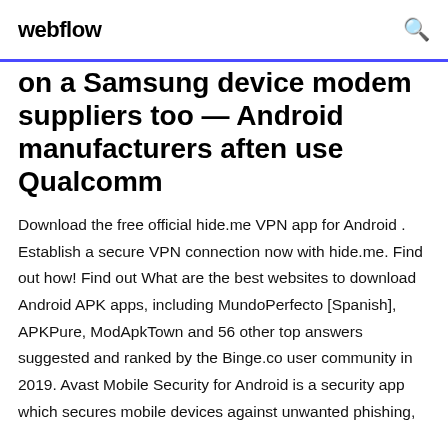webflow
on a Samsung device modem suppliers too — Android manufacturers aften use Qualcomm
Download the free official hide.me VPN app for Android . Establish a secure VPN connection now with hide.me. Find out how! Find out What are the best websites to download Android APK apps, including MundoPerfecto [Spanish], APKPure, ModApkTown and 56 other top answers suggested and ranked by the Binge.co user community in 2019. Avast Mobile Security for Android is a security app which secures mobile devices against unwanted phishing,